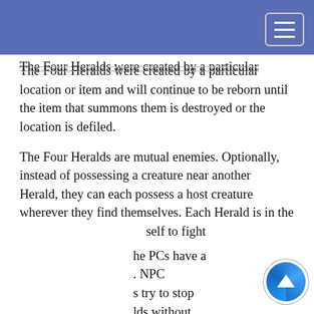The Four Heralds were created by a particular location or item and will continue to be reborn until the item that summons them is destroyed or the location is defiled.
The Four Heralds are mutual enemies. Optionally, instead of possessing a creature near another Herald, they can each possess a host creature wherever they find themselves. Each Herald is in the ... self to fight
... he PCs have a ... NPC ... s try to stop ... lds without
This website uses cookies to provide functionality, but which are not used to track your activity. By continuing to use this site, you agree to the use of these cookies.
However, in addition to this, you may opt into your activity being tracked in order to help us improve our service.
For more information, please click here
... ividual Herald.